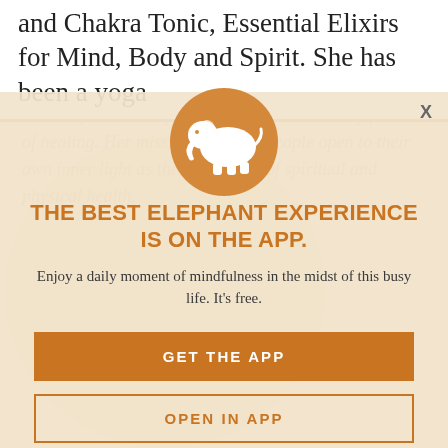and Chakra Tonic, Essential Elixirs for Mind, Body and Spirit.  She has been a yoga
teacher for over 10 years and has studied many forms of healing. Her mission is to help people open to their own inner light as the foundation of spiritual and physical health.
[Figure (logo): Orange circle with white elephant silhouette logo]
THE BEST ELEPHANT EXPERIENCE IS ON THE APP.
Enjoy a daily moment of mindfulness in the midst of this busy life. It's free.
GET THE APP
OPEN IN APP